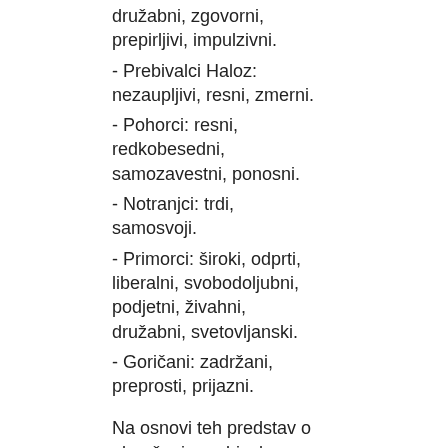družabni, zgovorni, prepirljivi, impulzivni.
- Prebivalci Haloz: nezaupljivi, resni, zmerni.
- Pohorci: resni, redkobesedni, samozavestni, ponosni.
- Notranjci: trdi, samosvoji.
- Primorci: široki, odprti, liberalni, svobodoljubni, podjetni, živahni, družabni, svetovljanski.
- Goričani: zadržani, preprosti, prijazni.
Na osnovi teh predstav o obnašanju prebivalcev različnih slovenskih statističnih regij bi sklepali, da se